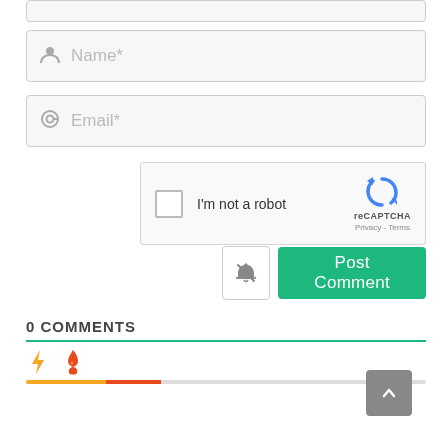[Figure (screenshot): Partially visible input field at top of page (cropped)]
[Figure (screenshot): Name input field with person icon and placeholder text 'Name*']
[Figure (screenshot): Email input field with @ icon and placeholder text 'Email*']
[Figure (screenshot): reCAPTCHA widget with checkbox, 'I'm not a robot' text, reCAPTCHA logo, Privacy and Terms links]
[Figure (screenshot): Notification bell icon button and green 'Post Comment' button]
0 COMMENTS
[Figure (screenshot): Comment reaction bar with lightning bolt (orange) and fire (red-orange) icons, with a progress bar below]
[Figure (screenshot): Back to top button (grey square with upward chevron) in bottom right corner]